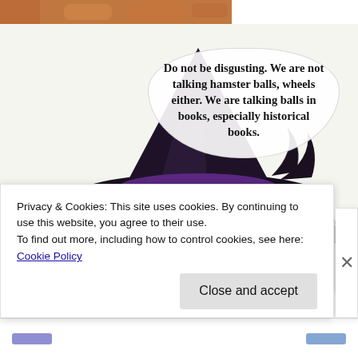[Figure (photo): Top cropped strip showing orange/brown textured background, possibly a cat or fuzzy surface]
[Figure (photo): A white/cream hamster wearing a black witch hat with purple tulle, sitting against a white background. A speech bubble overlay reads: 'Do not be disgusting. We are not talking hamster balls, wheels either. We are talking balls in books, especially historical books.']
Do not be disgusting. We are not talking hamster balls, wheels either. We are talking balls in books, especially historical books.
Privacy & Cookies: This site uses cookies. By continuing to use this website, you agree to their use.
To find out more, including how to control cookies, see here: Cookie Policy
Close and accept